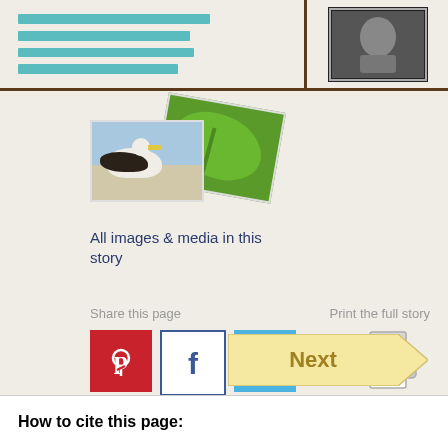[Figure (other): Teal horizontal menu/content lines on top left panel]
[Figure (photo): Black and white vintage photograph of a person, top right panel]
[Figure (photo): Overlapping thumbnails: a bird photo in front, green leaf image behind]
All images & media in this story
Share this page
Print the full story
[Figure (infographic): Pinterest logo button (red square with white P)]
[Figure (infographic): Facebook logo button (white square with blue f)]
[Figure (infographic): Twitter logo button (blue square with white bird)]
[Figure (other): Printer icon for print the full story]
Next: Page 1. Colonial drinking, 1800–1880
Next
How to cite this page: